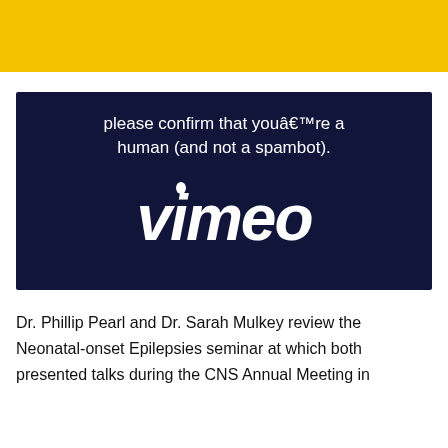[Figure (screenshot): Vimeo human verification screen with dark navy background showing the text 'please confirm that youâ€™re a human (and not a spambot).' and the Vimeo logo in white]
Dr. Phillip Pearl and Dr. Sarah Mulkey review the Neonatal-onset Epilepsies seminar at which both presented talks during the CNS Annual Meeting in